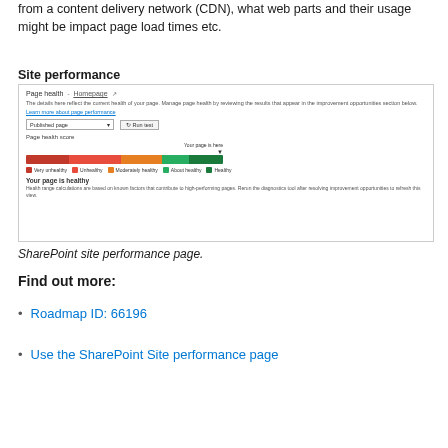from a content delivery network (CDN), what web parts and their usage might be impact page load times etc.
Site performance
[Figure (screenshot): Screenshot of SharePoint site performance page showing Page health panel with a color bar gauge (red to green) and 'Your page is healthy' status.]
SharePoint site performance page.
Find out more:
Roadmap ID: 66196
Use the SharePoint Site performance page